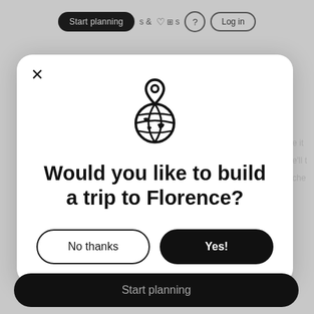[Figure (screenshot): App modal dialog asking user if they would like to build a trip to Florence, with a globe and location pin icon, a close (X) button, a 'No thanks' button, and a 'Yes!' button. Background shows a travel planning app interface with 'Start planning' navigation bar at top and bottom.]
Would you like to build a trip to Florence?
No thanks
Yes!
Start planning